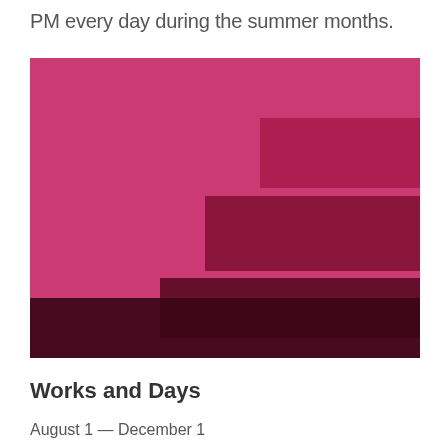PM every day during the summer months.
[Figure (illustration): A stacked bar-like decorative graphic with multiple horizontal bands in shades of crimson/dark red, stepping inward from left to right like a staircase pattern on a pink-red background.]
Works and Days
August 1 — December 1